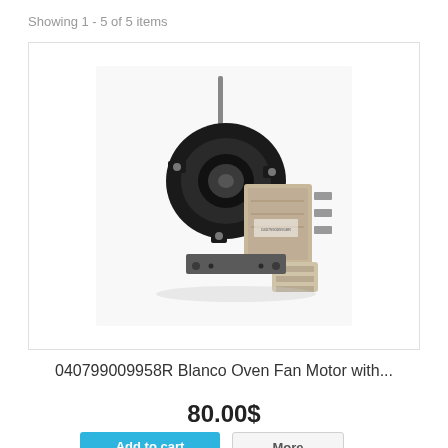Showing 1 - 5 of 5 items
[Figure (photo): Product photo of a Blanco Oven Fan Motor with shaft and electrical connectors]
040799009958R Blanco Oven Fan Motor with...
80.00$
Add to cart
More